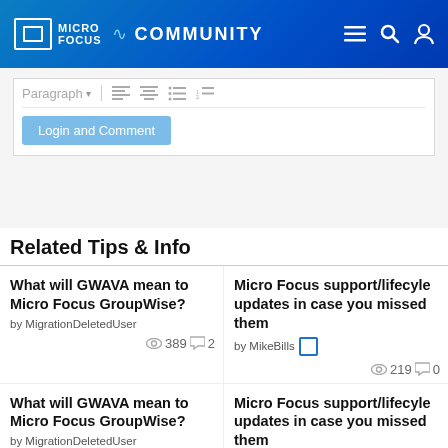[Figure (screenshot): Micro Focus Community website header with logo, navigation icons (menu, search, user)]
[Figure (screenshot): Text editor toolbar with Paragraph dropdown, alignment icons, list icons, and Login and Comment button]
Related Tips & Info
What will GWAVA mean to Micro Focus GroupWise?
by MigrationDeletedUser
389 2
Micro Focus support/lifecyle updates in case you missed them
by MikeBills
219 0
What will GWAVA mean to Micro Focus GroupWise?
by MigrationDeletedUser
389 2
Micro Focus support/lifecyle updates in case you missed them
by MikeBills
219 0